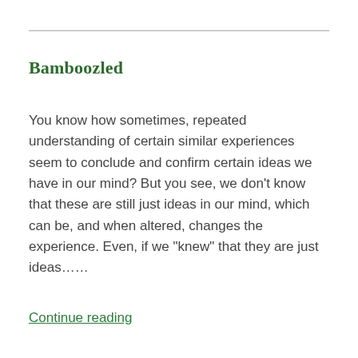Bamboozled
You know how sometimes, repeated understanding of certain similar experiences seem to conclude and confirm certain ideas we have in our mind? But you see, we don’t know that these are still just ideas in our mind, which can be, and when altered, changes the experience. Even, if we “knew” that they are just ideas……
Continue reading